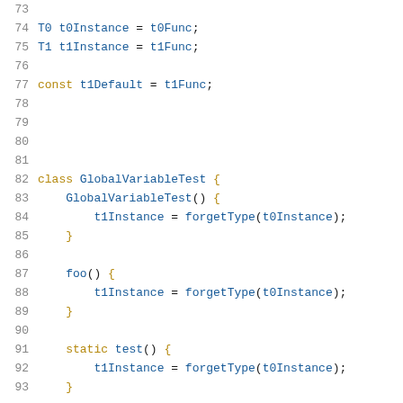Code listing lines 73–93 showing GlobalVariableTest class with T0/T1 instance assignments and forgetType calls